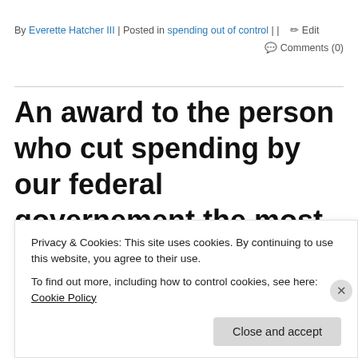By Everette Hatcher III | Posted in spending out of control | | ✏ Edit
Comments (0)
An award to the person who cut spending by our federal governement the most ($47)
April 23, 2012  5:16 am
Privacy & Cookies: This site uses cookies. By continuing to use this website, you agree to their use.
To find out more, including how to control cookies, see here: Cookie Policy